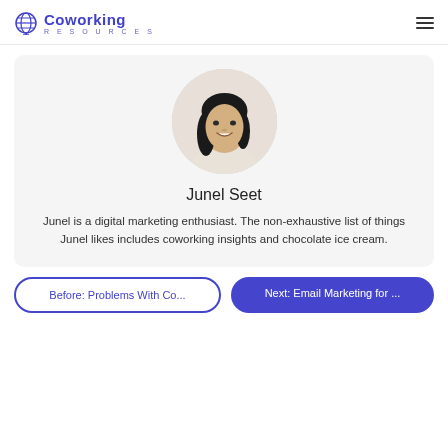Coworking Resources
[Figure (photo): Circular cropped profile photo of Junel Seet, a young woman with long dark hair, smiling, wearing a light-colored top, against a white background.]
Junel Seet
Junel is a digital marketing enthusiast. The non-exhaustive list of things Junel likes includes coworking insights and chocolate ice cream.
Before: Problems With Co...
Next: Email Marketing for ...